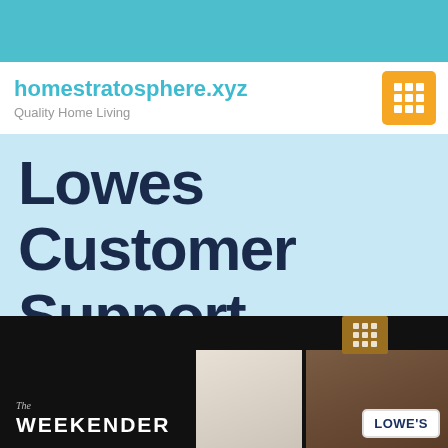[Figure (other): Teal/cyan decorative banner strip at top of page]
homestratosphere.xyz
Quality Home Living
Lowes Customer Support Cellphone Quantity
[Figure (photo): Bottom image strip showing: The Weekender TV show logo on dark background, a bright room interior, a brick wall interior, and a Lowe's logo badge. Also an orange grid icon visible.]